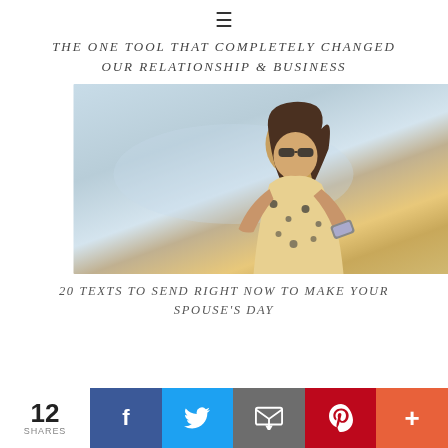≡
THE ONE TOOL THAT COMPLETELY CHANGED OUR RELATIONSHIP & BUSINESS
[Figure (photo): Woman with long blonde hair and sunglasses sitting on a beach looking at her phone, wearing a floral top. Blue/white ocean waves in background.]
20 TEXTS TO SEND RIGHT NOW TO MAKE YOUR SPOUSE'S DAY
12 SHARES
f (Facebook share button)
Twitter share button
Email share button
Pinterest share button
+ (More share button)